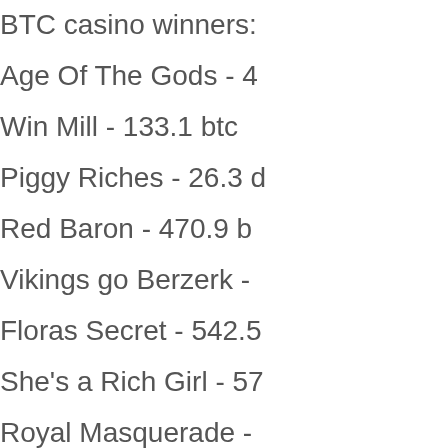BTC casino winners:
Age Of The Gods - 4...
Win Mill - 133.1 btc
Piggy Riches - 26.3 ...
Red Baron - 470.9 b...
Vikings go Berzerk - ...
Floras Secret - 542.5...
She's a Rich Girl - 57...
Royal Masquerade - ...
Beetle Jewels - 450....
Night Wolves - 418.3...
Fruit Boxes - 312.9 d...
Mision Espacial - 472...
Night Club 81 - 330.6...
Bingo Billions - 664.1...
7 Sins - 216.7 btc
New Games:
Vegas Crest Casino ...
FortuneJack Casino ...
Betcoin ag Casino R...